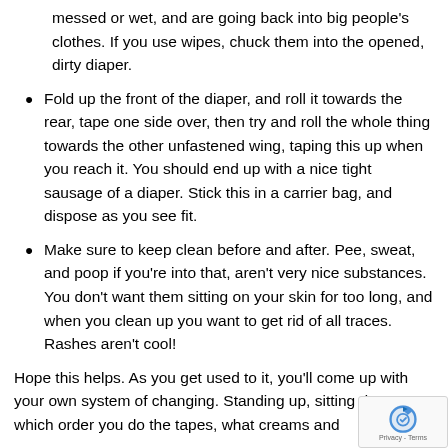messed or wet, and are going back into big people's clothes. If you use wipes, chuck them into the opened, dirty diaper.
Fold up the front of the diaper, and roll it towards the rear, tape one side over, then try and roll the whole thing towards the other unfastened wing, taping this up when you reach it. You should end up with a nice tight sausage of a diaper. Stick this in a carrier bag, and dispose as you see fit.
Make sure to keep clean before and after. Pee, sweat, and poop if you're into that, aren't very nice substances. You don't want them sitting on your skin for too long, and when you clean up you want to get rid of all traces. Rashes aren't cool!
Hope this helps. As you get used to it, you'll come up with your own system of changing. Standing up, sitting down, which order you do the tapes, what creams and